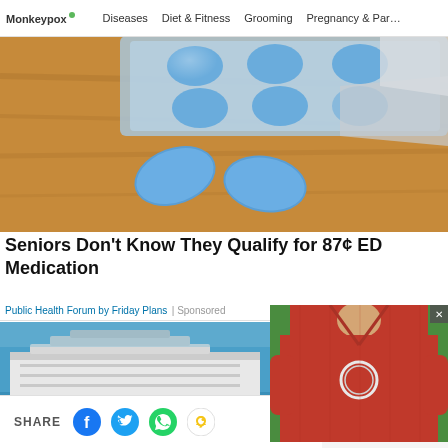Monkeypox · Diseases · Diet & Fitness · Grooming · Pregnancy & Par…
[Figure (photo): Close-up photo of blue oval pills/tablets on a wooden surface with a blister pack in the background]
Seniors Don't Know They Qualify for 87¢ ED Medication
Public Health Forum by Friday Plans | Sponsored
[Figure (photo): Aerial view of a large cruise ship on blue ocean water]
[Figure (photo): Video overlay showing a person in a red shirt with a circular pendant/device]
SHARE | FOLLOW